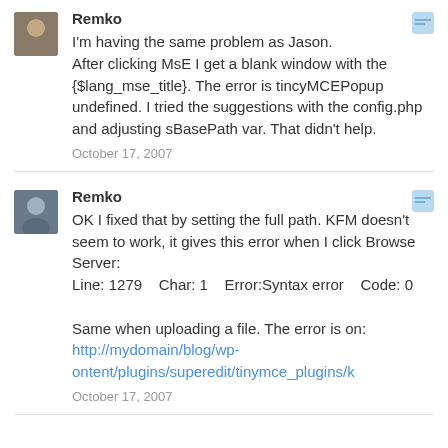Remko
I'm having the same problem as Jason.
After clicking MsE I get a blank window with the {$lang_mse_title}. The error is tincyMCEPopup undefined. I tried the suggestions with the config.php and adjusting sBasePath var. That didn't help.
October 17, 2007
Remko
OK I fixed that by setting the full path. KFM doesn't seem to work, it gives this error when I click Browse Server:
Line: 1279    Char: 1    Error:Syntax error    Code: 0

Same when uploading a file. The error is on:
http://mydomain/blog/wp-ontent/plugins/superedit/tinymce_plugins/k
October 17, 2007